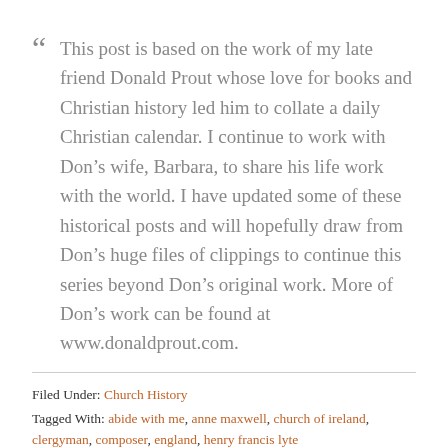“ This post is based on the work of my late friend Donald Prout whose love for books and Christian history led him to collate a daily Christian calendar. I continue to work with Don’s wife, Barbara, to share his life work with the world. I have updated some of these historical posts and will hopefully draw from Don’s huge files of clippings to continue this series beyond Don’s original work. More of Don’s work can be found at www.donaldprout.com.
Filed Under: Church History
Tagged With: abide with me, anne maxwell, church of ireland, clergyman, composer, england, henry francis lyte